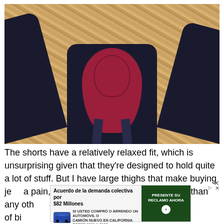[Figure (photo): Cycling bib shorts laid flat on a wooden OSB board surface. The shorts are black with a prominent red chamois pad visible, spread open to show the interior padding. The garment has shoulder straps visible at the bottom.]
The shorts have a relatively relaxed fit, which is unsurprising given that they're designed to hold quite a lot of stuff. But I have large thighs that make buying jeans a pain, and even then these were looser than any oth  air of bi  ms of le  e wher
[Figure (other): Advertisement overlay: 'Acuerdo de la demanda colectiva por $82 Millones' with subtext 'SI USTED COMPRÓ O ARRENDO UN AUTOMÓVIL O CAMIÓN NUEVO EN CALIFORNIA DESDE 2001 A 2003'. Shows a blue car image on the right side with a green button 'PRESENTE SU RECLAMO AHORA' and an arrow icon.]